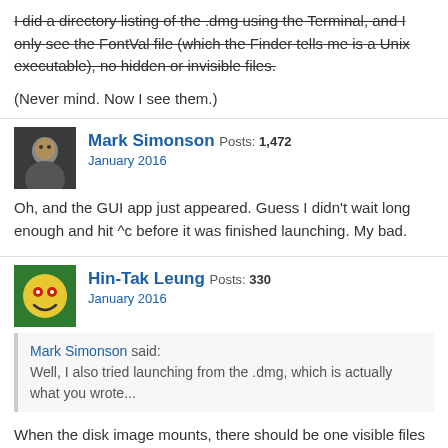I did a directory listing of the .dmg using the Terminal, and I only see the FontVal file (which the Finder tells me is a Unix executable), no hidden or invisible files.
(Never mind. Now I see them.)
Mark Simonson Posts: 1,472 January 2016
Oh, and the GUI app just appeared. Guess I didn't wait long enough and hit ^c before it was finished launching. My bad.
Hin-Tak Leung Posts: 330 January 2016
Mark Simonson said: Well, I also tried launching from the .dmg, which is actually what you wrote...
When the disk image mounts, there should be one visible files and 3 invisible folders. The visible file is just a shell script, actually, so if you are up for it and really want to see why it doesn't work, you